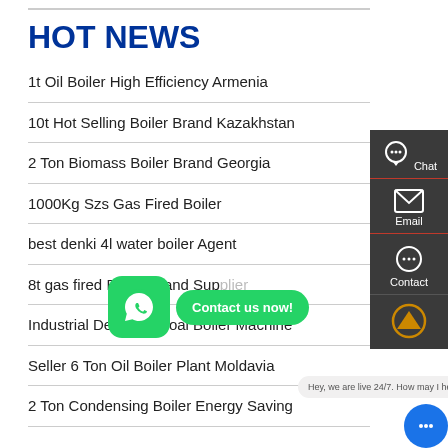HOT NEWS
1t Oil Boiler High Efficiency Armenia
10t Hot Selling Boiler Brand Kazakhstan
2 Ton Biomass Boiler Brand Georgia
1000Kg Szs Gas Fired Boiler
best denki 4l water boiler Agent
8t gas fired Boiler Brand Supplier
Industrial Dealer 8t Coal Boiler Machine
Seller 6 Ton Oil Boiler Plant Moldavia
2 Ton Condensing Boiler Energy Saving
[Figure (screenshot): Sidebar with Chat, Email, Contact buttons on dark background]
[Figure (screenshot): WhatsApp green icon bubble with Contact us now! message]
Hey, we are live 24/7. How may I help you?